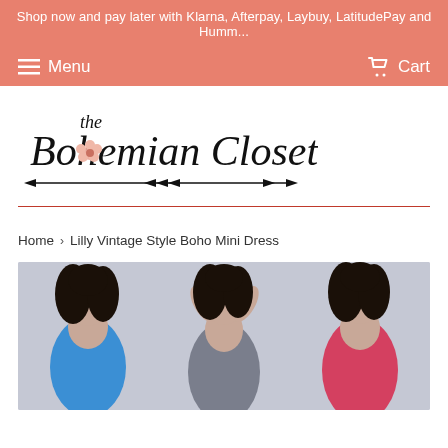Shop now and pay later with Klarna, Afterpay, Laybuy, LatitudePay and Humm...
Menu   Cart
[Figure (logo): The Bohemian Closet logo with script text and arrow decoration]
Home › Lilly Vintage Style Boho Mini Dress
[Figure (photo): Three female models wearing boho mini dresses in blue, grey, and red/pink colors]